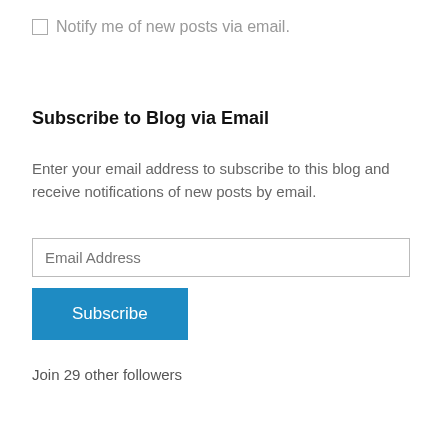Notify me of new posts via email.
Subscribe to Blog via Email
Enter your email address to subscribe to this blog and receive notifications of new posts by email.
Email Address
Subscribe
Join 29 other followers